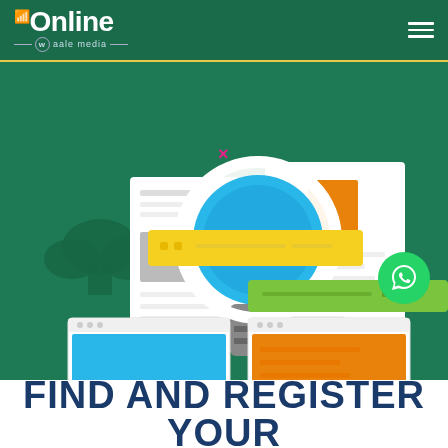Online Waale Media — navigation bar with hamburger menu
[Figure (illustration): Dark green background illustration showing a large magnifying glass with blue lens overlaid on document/webpage mockups. Yellow and green search bar elements visible. Small browser window mockups at bottom left (cyan/blue) and bottom right (orange). Pink and yellow-green X decorative crosses scattered around. Tree/cloud shapes in background.]
FIND AND REGISTER YOUR